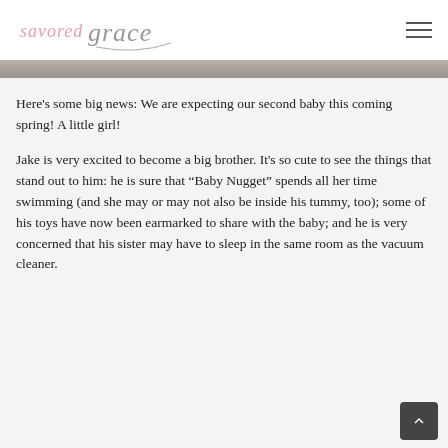savored grace [logo]
[Figure (photo): Photograph strip visible at top of content area, partially cropped]
Here's some big news: We are expecting our second baby this coming spring! A little girl!
Jake is very excited to become a big brother. It's so cute to see the things that stand out to him: he is sure that “Baby Nugget” spends all her time swimming (and she may or may not also be inside his tummy, too); some of his toys have now been earmarked to share with the baby; and he is very concerned that his sister may have to sleep in the same room as the vacuum cleaner.